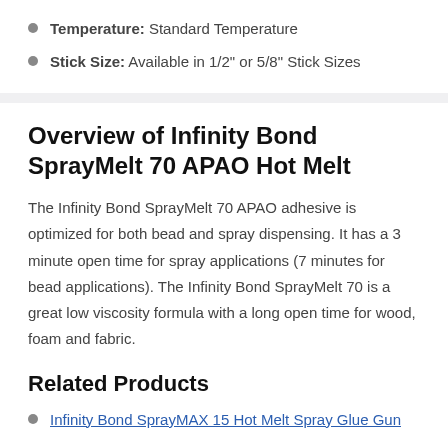Temperature: Standard Temperature
Stick Size: Available in 1/2" or 5/8" Stick Sizes
Overview of Infinity Bond SprayMelt 70 APAO Hot Melt
The Infinity Bond SprayMelt 70 APAO adhesive is optimized for both bead and spray dispensing. It has a 3 minute open time for spray applications (7 minutes for bead applications). The Infinity Bond SprayMelt 70 is a great low viscosity formula with a long open time for wood, foam and fabric.
Related Products
Infinity Bond SprayMAX 15 Hot Melt Spray Glue Gun